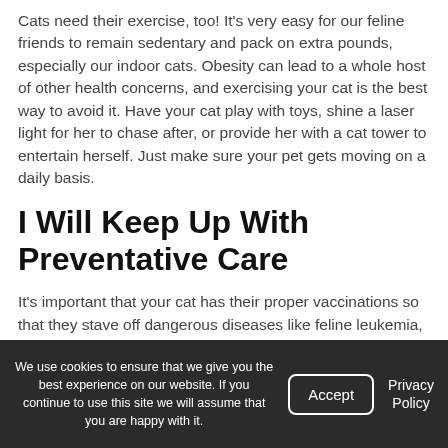Cats need their exercise, too! It's very easy for our feline friends to remain sedentary and pack on extra pounds, especially our indoor cats. Obesity can lead to a whole host of other health concerns, and exercising your cat is the best way to avoid it. Have your cat play with toys, shine a laser light for her to chase after, or provide her with a cat tower to entertain herself. Just make sure your pet gets moving on a daily basis.
I Will Keep Up With Preventative Care
It's important that your cat has their proper vaccinations so that they stave off dangerous diseases like feline leukemia, hepatitis, influenza, and others. If your cat hasn't already received their vaccinations during kittenhood, it's important to act quickly. Call your veterinarian to find out what
We use cookies to ensure that we give you the best experience on our website. If you continue to use this site we will assume that you are happy with it.  Accept  Privacy Policy